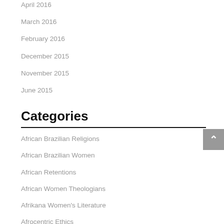April 2016
March 2016
February 2016
December 2015
November 2015
June 2015
Categories
African Brazilian Religions
African Brazilian Women
African Retentions
African Women Theologians
Afrikana Women's Literature
Afrocentric Ethics
Afrocentric Methodology
Black Judaism
Black Theology
Black Womanhood
Conscientization
Director Notes